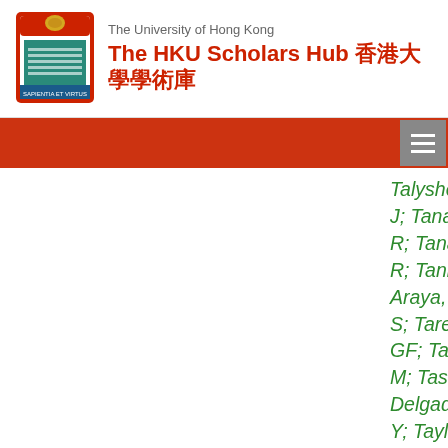The University of Hong Kong
The HKU Scholars Hub 香港大學學術庫
Talyshev, AA; Tanaka, J; Tanaka, M; Tanaka, R; Tanaka, S; Tanioka, R; Tannenwald, BB; Araya, ST; Tapprogge, S; Tarem, S; Tartarelli, GF; Tas, P; Tasevsky, M; Tashiro, T; Tassi, E; Delgado, AT; Tayalati, Y; Taylor, AC; Taylor, AJ; Taylor, GN; Taylor, PTE; Taylor, W; Teixeira-Dias, P; Temple, D; Kate, HT; Teng, PK; Teoh, JJ; Tepel, F; Terada, S; Terashi, K; Terron, J; Terzo, S; Testa, M;